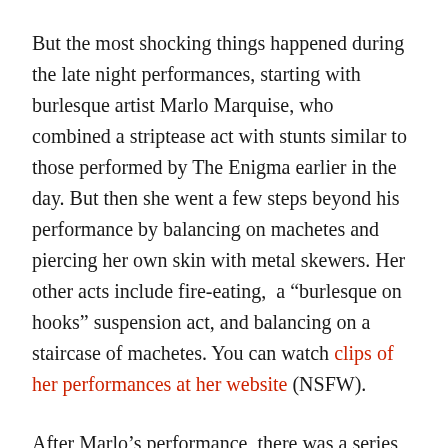But the most shocking things happened during the late night performances, starting with burlesque artist Marlo Marquise, who combined a striptease act with stunts similar to those performed by The Enigma earlier in the day. But then she went a few steps beyond his performance by balancing on machetes and piercing her own skin with metal skewers. Her other acts include fire-eating, a “burlesque on hooks” suspension act, and balancing on a staircase of machetes. You can watch clips of her performances at her website (NSFW).
After Marlo’s performance, there was a series of “suspension acts,” by three different women, one of whom had never tried it before. Although I had seen